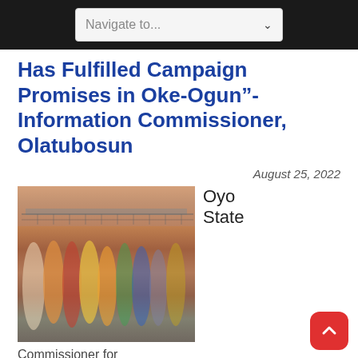Navigate to...
Has Fulfilled Campaign Promises in Oke-Ogun”- Information Commissioner, Olatubosun
August 25, 2022
[Figure (photo): Group of people in colorful traditional attire standing in front of a building with a balcony]
Oyo State
Commissioner for Information, Culture and